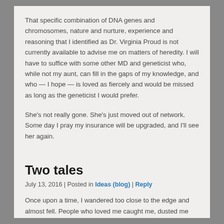That specific combination of DNA genes and chromosomes, nature and nurture, experience and reasoning that I identified as Dr. Virginia Proud is not currently available to advise me on matters of heredity. I will have to suffice with some other MD and geneticist who, while not my aunt, can fill in the gaps of my knowledge, and who — I hope — is loved as fiercely and would be missed as long as the geneticist I would prefer.
She's not really gone. She's just moved out of network. Some day I pray my insurance will be upgraded, and I'll see her again.
Two tales
July 13, 2016 | Posted in Ideas (blog) | Reply
Once upon a time, I wandered too close to the edge and almost fell. People who loved me caught me, dusted me off, and put me back on my feet. The end.
Once upon a time, later, some folks began to nudge me toward the